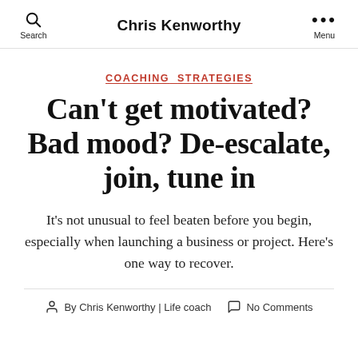Chris Kenworthy
COACHING  STRATEGIES
Can't get motivated? Bad mood? De-escalate, join, tune in
It's not unusual to feel beaten before you begin, especially when launching a business or project. Here's one way to recover.
By Chris Kenworthy | Life coach   No Comments